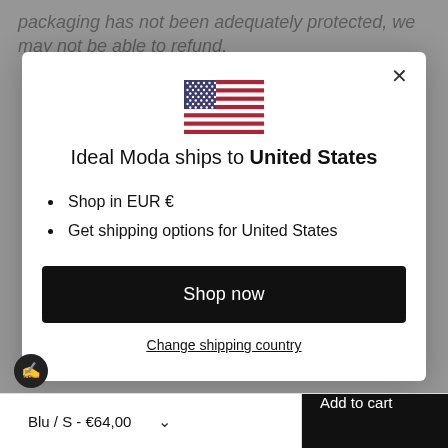packaging has not been adequately protected, we may not be able to refund.
[Figure (illustration): Modal dialog showing US flag and shipping options for Ideal Moda]
Ideal Moda ships to United States
Shop in EUR €
Get shipping options for United States
Shop now
Change shipping country
Blu / S - €64,00
Add to cart